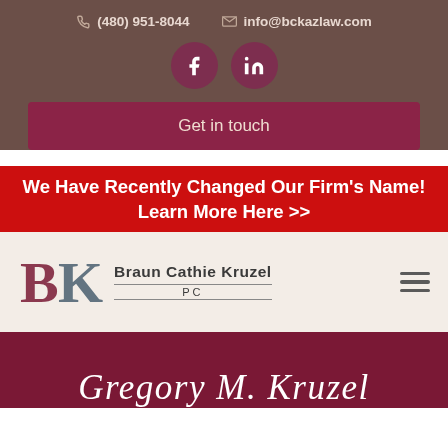(480) 951-8044   info@bckazlaw.com
[Figure (logo): Facebook and LinkedIn social media icons as dark magenta circles]
Get in touch
We Have Recently Changed Our Firm's Name! Learn More Here >>
[Figure (logo): Braun Cathie Kruzel PC law firm logo with BK monogram]
Gregory M. Kruzel